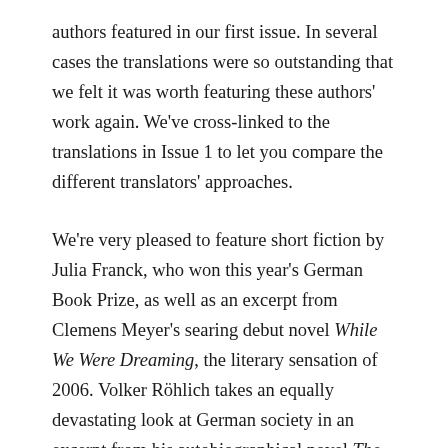authors featured in our first issue. In several cases the translations were so outstanding that we felt it was worth featuring these authors' work again. We've cross-linked to the translations in Issue 1 to let you compare the different translators' approaches.
We're very pleased to feature short fiction by Julia Franck, who won this year's German Book Prize, as well as an excerpt from Clemens Meyer's searing debut novel While We Were Dreaming, the literary sensation of 2006. Volker Röhlich takes an equally devastating look at German society in an excerpt from his autobiographical novel The Stumbler. A conception of prose as enigmatic, poem-like fragment is embodied in the work of Johannes Jansen and Veronika Reichl and reflects a strong tendency among young German prose writers, while stories by Daniel Oliver Bachmann and Florian Werner